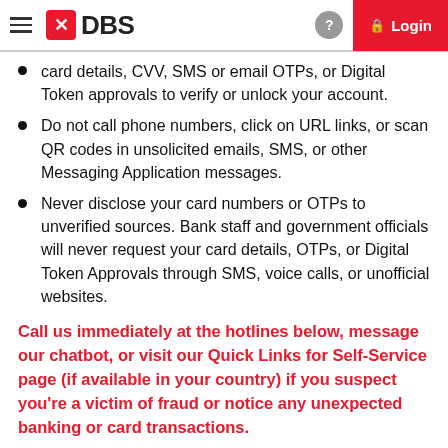DBS — Login
card details, CVV, SMS or email OTPs, or Digital Token approvals to verify or unlock your account.
Do not call phone numbers, click on URL links, or scan QR codes in unsolicited emails, SMS, or other Messaging Application messages.
Never disclose your card numbers or OTPs to unverified sources. Bank staff and government officials will never request your card details, OTPs, or Digital Token Approvals through SMS, voice calls, or unofficial websites.
Call us immediately at the hotlines below, message our chatbot, or visit our Quick Links for Self-Service page (if available in your country) if you suspect you're a victim of fraud or notice any unexpected banking or card transactions.
Singapore    1800 339 6963   or   6339 6963